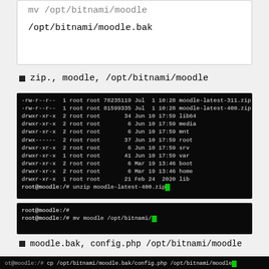[Figure (screenshot): Partial code box showing /opt/bitnami/moodle.bak command text]
zip., moodle, /opt/bitnami/moodle
[Figure (screenshot): Terminal screenshot showing directory listing and unzip moodle-latest-400.zip command]
[Figure (screenshot): Terminal screenshot showing mv moodle /opt/bitnami/ command]
moodle.bak, config.php /opt/bitnami/moodle
[Figure (screenshot): Terminal screenshot showing cp /opt/bitnami/moodle.bak/config.php /opt/bitnami/moodle command (cropped)]